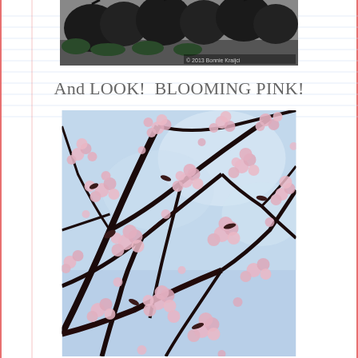[Figure (photo): Partial view of a street scene with dark trees silhouetted, appears to be a parking lot or road with greenery, copyright watermark '© 2013 Bonnie Kraijci' in lower right corner]
And LOOK!  BLOOMING PINK!
[Figure (photo): Close-up photograph of pink cherry blossom flowers blooming on dark branches against a blue-grey sky, looking upward through the canopy]